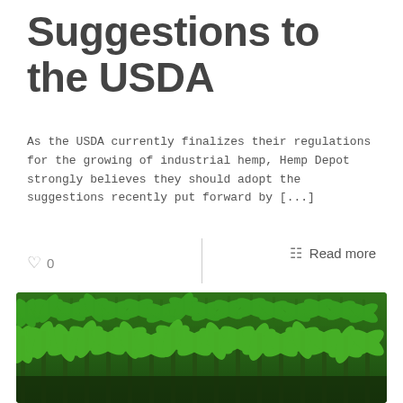Suggestions to the USDA
As the USDA currently finalizes their regulations for the growing of industrial hemp, Hemp Depot strongly believes they should adopt the suggestions recently put forward by [...]
♡ 0
Read more
[Figure (other): Article card with text overlay on light grey background reading 'APPLICATIONS FOR INDUSTRIAL HEMP?' with a photograph of a green industrial hemp field below]